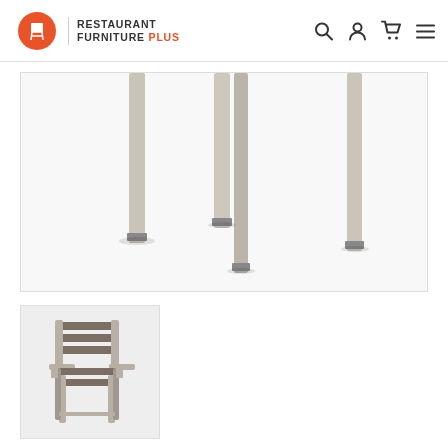Restaurant Furniture Plus - website header with logo and navigation icons
[Figure (photo): Close-up photo of table legs (silver/beige metal legs) against white background, showing three legs cropped at the top]
[Figure (photo): Small thumbnail image of an outdoor dining arm chair with silver/beige metal frame and dark grey horizontal slat back and seat]